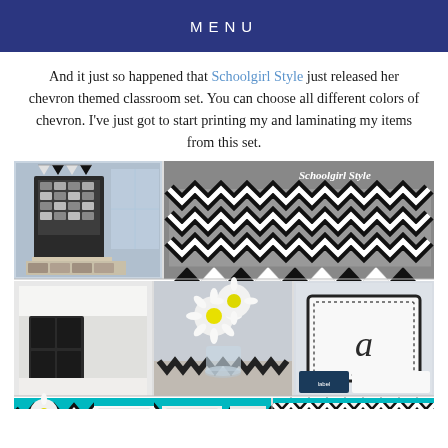MENU
And it just so happened that Schoolgirl Style just released her chevron themed classroom set. You can choose all different colors of chevron. I've just got to start printing my and laminating my items from this set.
[Figure (photo): Collage of black and white chevron themed classroom decorations from Schoolgirl Style, showing bulletin board display, chevron banner pennants, classroom furniture, flower arrangement, number cards, and classroom supply sets.]